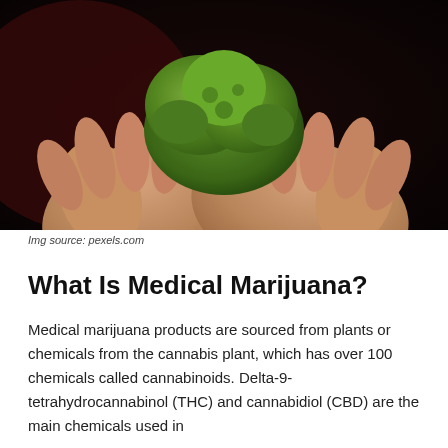[Figure (photo): Two hands cupping green cannabis buds against a dark red/brown background. Photo of hands holding marijuana flower.]
Img source: pexels.com
What Is Medical Marijuana?
Medical marijuana products are sourced from plants or chemicals from the cannabis plant, which has over 100 chemicals called cannabinoids. Delta-9-tetrahydrocannabinol (THC) and cannabidiol (CBD) are the main chemicals used in